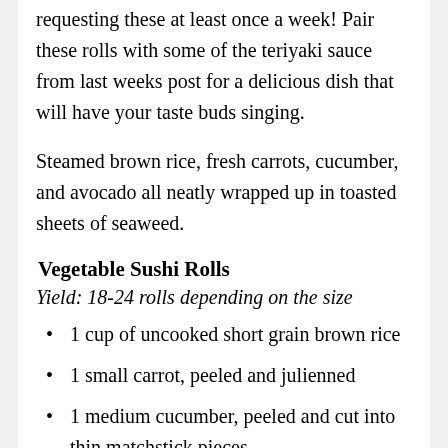requesting these at least once a week! Pair these rolls with some of the teriyaki sauce from last weeks post for a delicious dish that will have your taste buds singing.
Steamed brown rice, fresh carrots, cucumber, and avocado all neatly wrapped up in toasted sheets of seaweed.
Vegetable Sushi Rolls
Yield: 18-24 rolls depending on the size
1 cup of uncooked short grain brown rice
1 small carrot, peeled and julienned
1 medium cucumber, peeled and cut into thin matchstick pieces